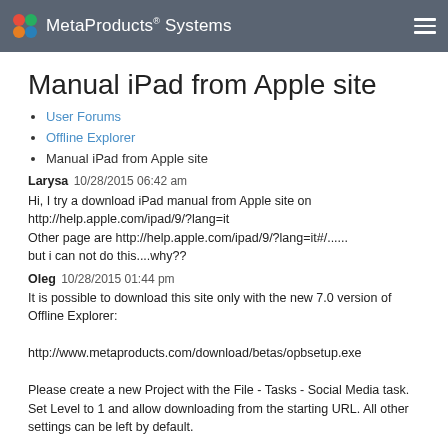MetaProducts® Systems
Manual iPad from Apple site
User Forums
Offline Explorer
Manual iPad from Apple site
Larysa 10/28/2015 06:42 am
Hi, I try a download iPad manual from Apple site on http://help.apple.com/ipad/9/?lang=it
Other page are http://help.apple.com/ipad/9/?lang=it#/......
but i can not do this....why??
Oleg 10/28/2015 01:44 pm
It is possible to download this site only with the new 7.0 version of Offline Explorer:

http://www.metaproducts.com/download/betas/opbsetup.exe

Please create a new Project with the File - Tasks - Social Media task. Set Level to 1 and allow downloading from the starting URL. All other settings can be left by default.

Best regards,